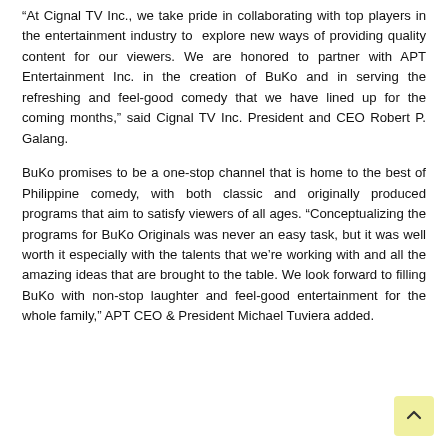“At Cignal TV Inc., we take pride in collaborating with top players in the entertainment industry to explore new ways of providing quality content for our viewers. We are honored to partner with APT Entertainment Inc. in the creation of BuKo and in serving the refreshing and feel-good comedy that we have lined up for the coming months,” said Cignal TV Inc. President and CEO Robert P. Galang.
BuKo promises to be a one-stop channel that is home to the best of Philippine comedy, with both classic and originally produced programs that aim to satisfy viewers of all ages. “Conceptualizing the programs for BuKo Originals was never an easy task, but it was well worth it especially with the talents that we’re working with and all the amazing ideas that are brought to the table. We look forward to filling BuKo with non-stop laughter and feel-good entertainment for the whole family,” APT CEO & President Michael Tuviera added.